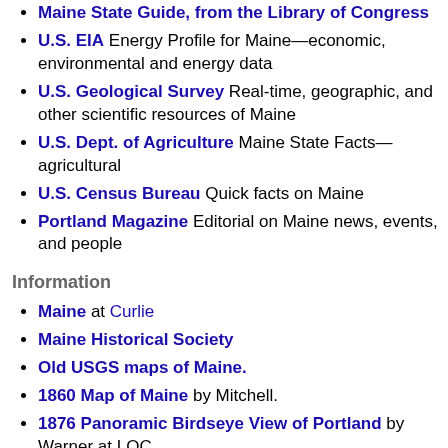Maine State Guide, from the Library of Congress
U.S. EIA Energy Profile for Maine—economic, environmental and energy data
U.S. Geological Survey Real-time, geographic, and other scientific resources of Maine
U.S. Dept. of Agriculture Maine State Facts—agricultural
U.S. Census Bureau Quick facts on Maine
Portland Magazine Editorial on Maine news, events, and people
Information
Maine at Curlie
Maine Historical Society
Old USGS maps of Maine.
1860 Map of Maine by Mitchell.
1876 Panoramic Birdseye View of Portland by Warner at LOC.,